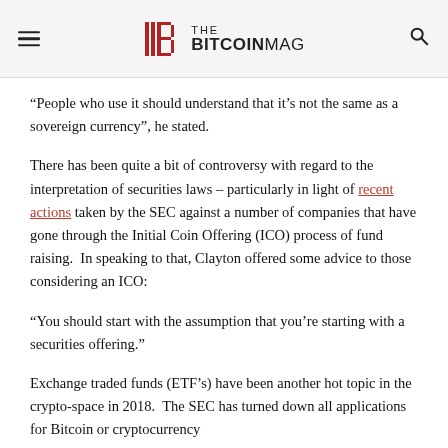THE BITCOINMAG
“People who use it should understand that it’s not the same as a sovereign currency”, he stated.
There has been quite a bit of controversy with regard to the interpretation of securities laws – particularly in light of recent actions taken by the SEC against a number of companies that have gone through the Initial Coin Offering (ICO) process of fund raising.  In speaking to that, Clayton offered some advice to those considering an ICO:
“You should start with the assumption that you’re starting with a securities offering.”
Exchange traded funds (ETF’s) have been another hot topic in the crypto-space in 2018.  The SEC has turned down all applications for Bitcoin or cryptocurrency